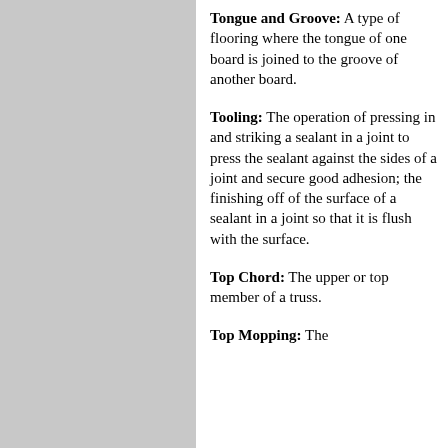Tongue and Groove: A type of flooring where the tongue of one board is joined to the groove of another board.
Tooling: The operation of pressing in and striking a sealant in a joint to press the sealant against the sides of a joint and secure good adhesion; the finishing off of the surface of a sealant in a joint so that it is flush with the surface.
Top Chord: The upper or top member of a truss.
Top Mopping: The